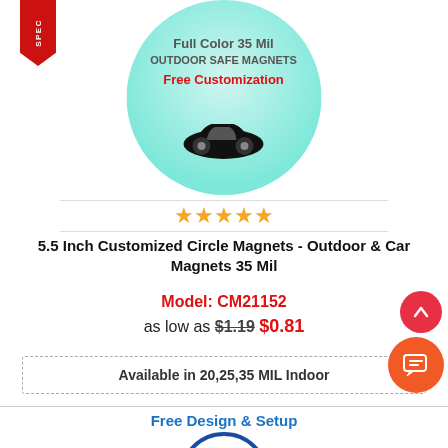[Figure (illustration): Circular product image with teal/mint gradient background showing a black car silhouette. Text reads 'Full Color 35 Mil OUTDOOR SAFE MAGNETS' and 'Free Customization' in red. Red SPEC ribbon badge in top left corner.]
★★★★★
5.5 Inch Customized Circle Magnets - Outdoor & Car Magnets 35 Mil
Model: CM21152
as low as $1.19 $0.81
Available in 20,25,35 MIL Indoor
Free Design & Setup
[Figure (logo): Partial circular logo with text 'Support Cancer' visible at bottom of page]